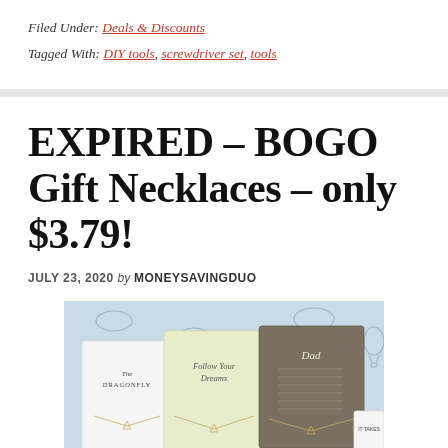Filed Under: Deals & Discounts
Tagged With: DIY tools, screwdriver set, tools
EXPIRED – BOGO Gift Necklaces – only $3.79!
JULY 23, 2020 by MONEYSAVINGDUO
[Figure (photo): Product image showing multiple gift necklace cards with messages including 'The Dragonfly', 'Follow Your Dreams', 'Dad', arranged on a decorative blue background with stars and balloon illustrations.]